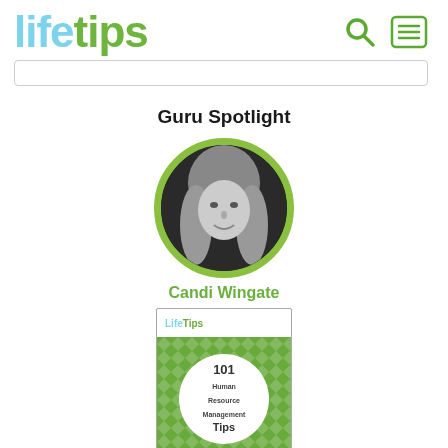lifetips
[Figure (screenshot): Search bar input field]
Guru Spotlight
[Figure (photo): Circular profile photo of Candi Wingate, a woman with long blonde hair, in black and white, surrounded by a green circle border]
Candi Wingate
[Figure (photo): Book cover for '101 Human Resource Management Tips' published by LifeTips, green cover with a white circular emblem]
101 Human Resource